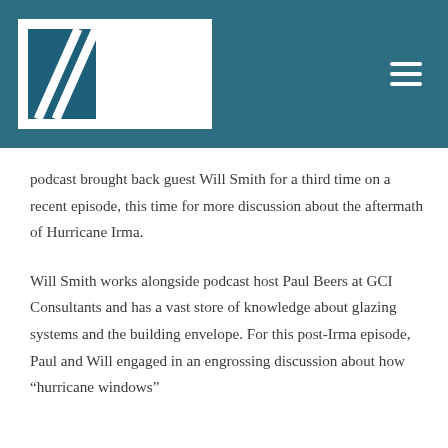[Figure (logo): GCI Consultants logo with diagonal stripes icon and GCI text on blue background]
podcast brought back guest Will Smith for a third time on a recent episode, this time for more discussion about the aftermath of Hurricane Irma.
Will Smith works alongside podcast host Paul Beers at GCI Consultants and has a vast store of knowledge about glazing systems and the building envelope. For this post-Irma episode, Paul and Will engaged in an engrossing discussion about how “hurricane windows”